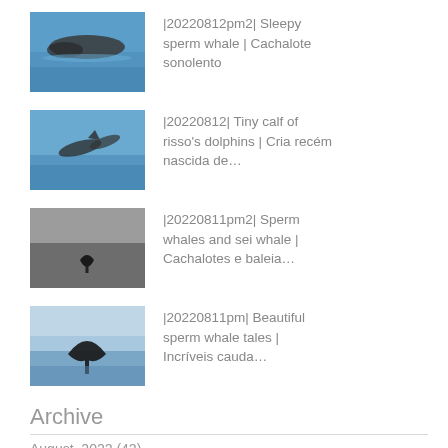|20220812pm2| Sleepy sperm whale | Cachalote sonolento
|20220812| Tiny calf of risso's dolphins | Cria recém nascida de…
|20220811pm2| Sperm whales and sei whale | Cachalotes e baleia…
|20220811pm| Beautiful sperm whale tales | Incríveis cauda…
Archive
August, 2022  (42)